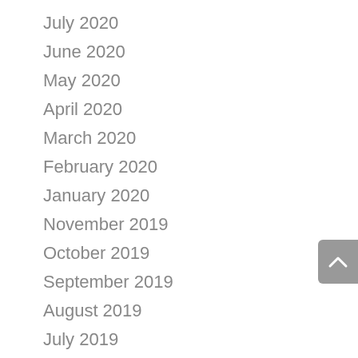July 2020
June 2020
May 2020
April 2020
March 2020
February 2020
January 2020
November 2019
October 2019
September 2019
August 2019
July 2019
June 2019